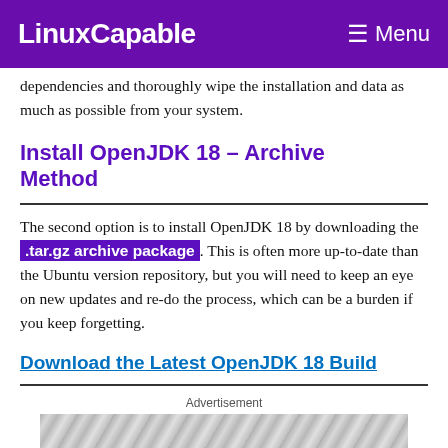LinuxCapable  Menu
dependencies and thoroughly wipe the installation and data as much as possible from your system.
Install OpenJDK 18 – Archive Method
The second option is to install OpenJDK 18 by downloading the .tar.gz archive package. This is often more up-to-date than the Ubuntu version repository, but you will need to keep an eye on new updates and re-do the process, which can be a burden if you keep forgetting.
Download the Latest OpenJDK 18 Build
Advertisement
[Figure (photo): Advertisement banner with swirling gray pattern background and a yellow 'Choose Your Piece' button overlay]